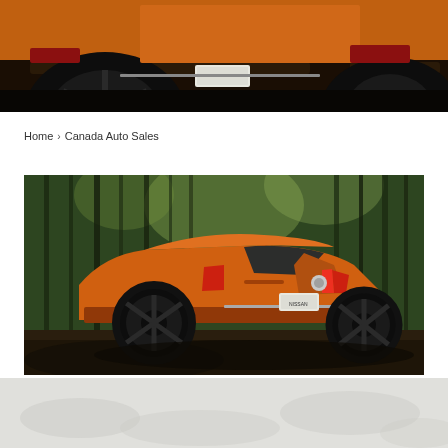[Figure (photo): Partial rear view of an orange SUV (Nissan) against a dark background, showing the lower half with wheels and bumper]
Home › Canada Auto Sales
[Figure (photo): Orange Nissan Rogue SUV parked in a forest setting with tall thin trees in the background, rear three-quarter view]
[Figure (photo): Bottom strip showing ground/pavement with dappled light shadows]